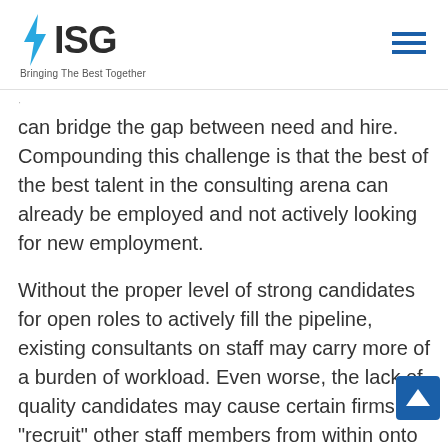ISG — Bringing The Best Together
can bridge the gap between need and hire. Compounding this challenge is that the best of the best talent in the consulting arena can already be employed and not actively looking for new employment.
Without the proper level of strong candidates for open roles to actively fill the pipeline, existing consultants on staff may carry more of a burden of workload. Even worse, the lack of quality candidates may cause certain firms to “recruit” other staff members from within onto projects. This tends to lead to a learn-on-